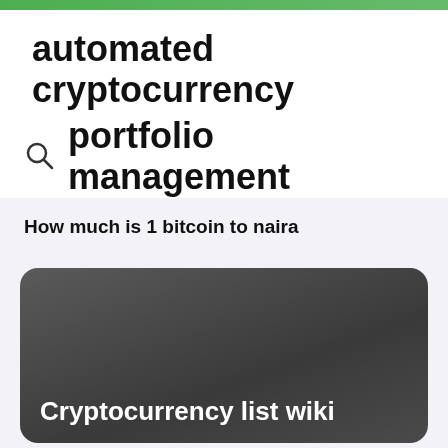automated cryptocurrency portfolio management
How much is 1 bitcoin to naira
[Figure (screenshot): Dark rounded card with text 'Cryptocurrency list wiki' at the bottom, appearing as a web search result card with a dark gradient background.]